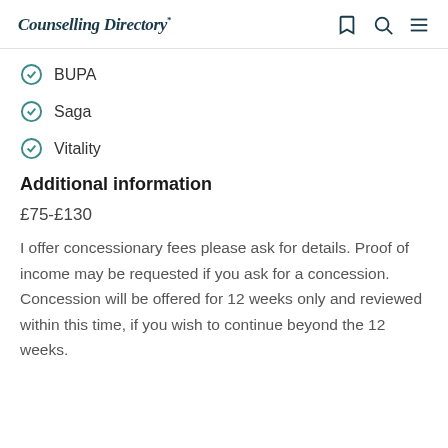Counselling Directory
BUPA
Saga
Vitality
Additional information
£75-£130
I offer concessionary fees please ask for details. Proof of income may be requested if you ask for a concession. Concession will be offered for 12 weeks only and reviewed within this time, if you wish to continue beyond the 12 weeks.